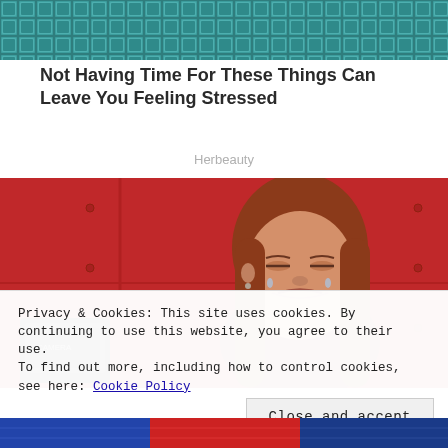[Figure (photo): Teal/blue mosaic or tiled texture image strip at the top of the page]
Not Having Time For These Things Can Leave You Feeling Stressed
Herbeauty
[Figure (photo): Red-haired woman with a distressed/crying expression, wearing a dark red tank top, standing in front of a red background. A black device is visible at the lower left.]
Privacy & Cookies: This site uses cookies. By continuing to use this website, you agree to their use.
To find out more, including how to control cookies, see here: Cookie Policy
Close and accept
[Figure (photo): Partial bottom image strip showing colorful fabric or clothing]